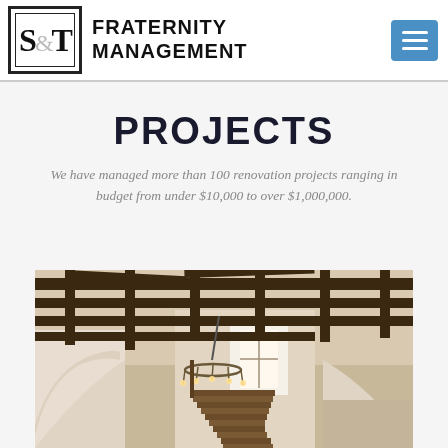S&T Fraternity Management
PROJECTS
We have managed more than 100 renovation projects ranging in budget from under $10,000 to over $1,000,000.
[Figure (photo): Interior photo of a building with dark wooden ceiling beams, arched white walls, a chandelier, and a staircase with a window.]